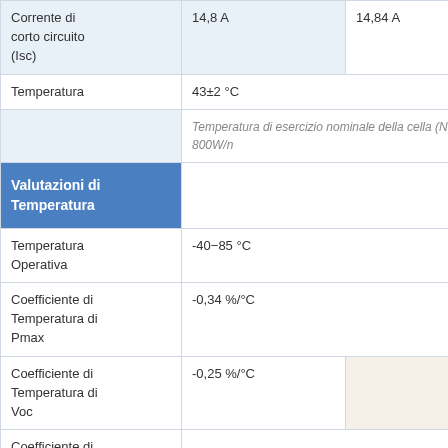|  | Col1 | Col2 |
| --- | --- | --- |
| Corrente di corto circuito (Isc) | 14,8 A | 14,84 A | 14,8… |
| Temperatura | 43±2 °C |  |  |
|  | Temperatura di esercizio nominale della cella (NOCT): 800W/n |  |  |
| Valutazioni di Temperatura |  |  |  |
| Temperatura Operativa | -40−85 °C |  |  |
| Coefficiente di Temperatura di Pmax | -0,34 %/°C |  |  |
| Coefficiente di Temperatura di Voc | -0,25 %/°C |  |  |
| Coefficiente di |  |  |  |